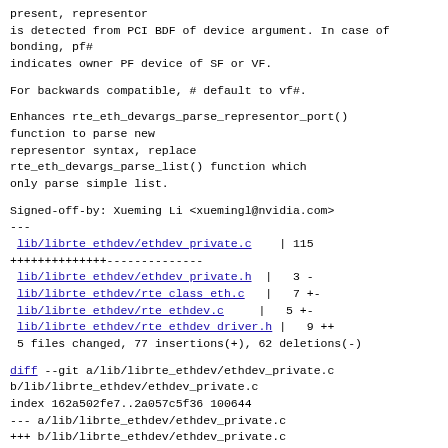present, representor
is detected from PCI BDF of device argument. In case of bonding, pf#
indicates owner PF device of SF or VF.
For backwards compatible, # default to vf#.
Enhances rte_eth_devargs_parse_representor_port() function to parse new representor syntax, replace rte_eth_devargs_parse_list() function which only parse simple list.
Signed-off-by: Xueming Li <xuemingl@nvidia.com>
---
 lib/librte ethdev/ethdev private.c  | 115
++++++++++++++--------------
 lib/librte ethdev/ethdev private.h  |   3 -
 lib/librte ethdev/rte class eth.c   |   7 +-
 lib/librte ethdev/rte ethdev.c      |   5 +-
 lib/librte ethdev/rte ethdev driver.h |   9 ++
 5 files changed, 77 insertions(+), 62 deletions(-)
diff --git a/lib/librte_ethdev/ethdev_private.c b/lib/librte_ethdev/ethdev_private.c
index 162a502fe7..2a057c5f36 100644
--- a/lib/librte_ethdev/ethdev_private.c
+++ b/lib/librte_ethdev/ethdev_private.c
@@ -38,60 +38,13 @@ eth_find_device(const struct rte_eth_dev *start, rte_eth_cmp_t cmp,